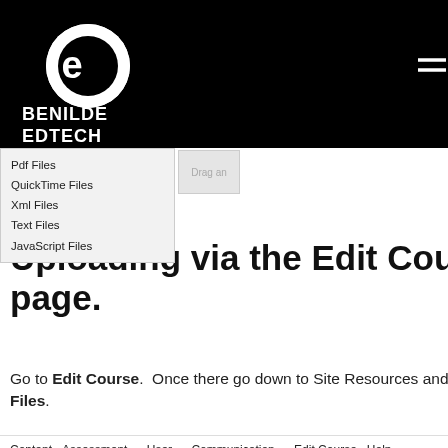[Figure (logo): Benilde EdTech logo: white circular icon with stylized 'e' letters on black background, with text BENILDE EDTECH below]
[Figure (screenshot): Dropdown menu showing file type options: Pdf Files, QuickTime Files, Xml Files, Text Files, JavaScript Files]
the Content page.
Uploading via the Edit Course page.
Go to Edit Course.  Once there go down to Site Resources and click on Manage Files.
[Figure (screenshot): Course navigation bar showing: Content, Assessment, User, Communication, Edit Course, Help menus]
[Figure (screenshot): Course Administration panel with Category/Name tabs and Site Setup section showing Course Offering Information, Homepages, Navigation & T... links]